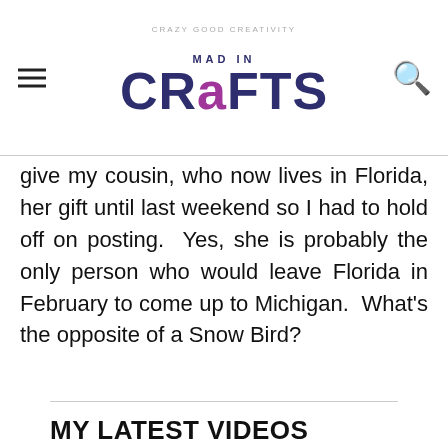[Figure (logo): Mad In Crafts logo with hamburger menu and search icon]
give my cousin, who now lives in Florida, her gift until last weekend so I had to hold off on posting.  Yes, she is probably the only person who would leave Florida in February to come up to Michigan.  What’s the opposite of a Snow Bird?
MY LATEST VIDEOS
[Figure (screenshot): Video player showing 'Loading ad' in black area with gray loading spinner below]